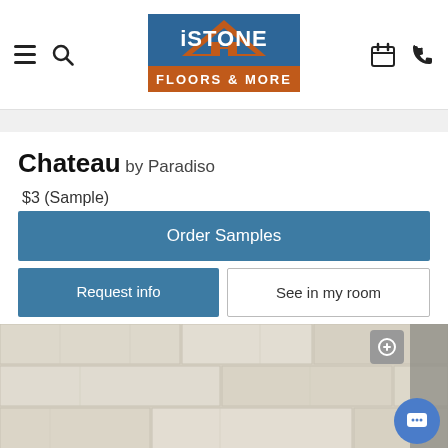iSTONE FLOORS & MORE — navigation header with hamburger menu, search, logo, calendar, and phone icons
Chateau by Paradiso
$3 (Sample)
Order Samples
Request info
See in my room
[Figure (photo): Close-up photo of light gray/white wood-grain flooring planks (Chateau by Paradiso) with a zoom button overlay and a chat button overlay]